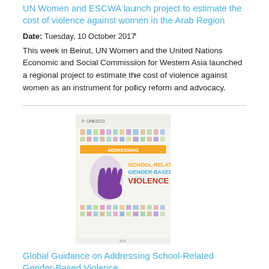UN Women and ESCWA launch project to estimate the cost of violence against women in the Arab Region
Date: Tuesday, 10 October 2017
This week in Beirut, UN Women and the United Nations Economic and Social Commission for Western Asia launched a regional project to estimate the cost of violence against women as an instrument for policy reform and advocacy.
[Figure (illustration): Book cover for 'Global Guidance on Addressing School-Related Gender-Based Violence' showing a purple hand print and the title text on a light background with small icons/patterns]
Global Guidance on Addressing School-Related Gender-Based Violence
Date: Tuesday, 1 November 2016
The Global Guidance, developed by UN Women and UNESCO, provides key information to governments, policy-makers, teachers, practitioners and civil society who wish to take concrete action against school-related gender-based violence. It introduces